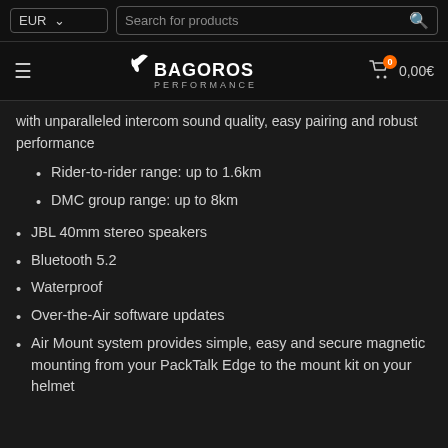EUR  Search for products
[Figure (logo): Bagoros Performance logo with hamburger menu and cart showing 0 items, 0,00€]
with unparalleled intercom sound quality, easy pairing and robust performance
Rider-to-rider range: up to 1.6km
DMC group range: up to 8km
JBL 40mm stereo speakers
Bluetooth 5.2
Waterproof
Over-the-Air software updates
Air Mount system provides simple, easy and secure magnetic mounting from your PackTalk Edge to the mount kit on your helmet